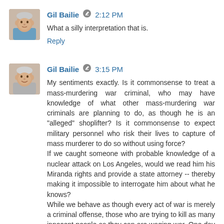[Figure (photo): Avatar photo of Gil Bailie - older male with gray hair]
Gil Bailie ✏ 2:12 PM
What a silly interpretation that is.
Reply
[Figure (photo): Avatar photo of Gil Bailie - older male with gray hair, smiling]
Gil Bailie ✏ 3:15 PM
My sentiments exactly. Is it commonsense to treat a mass-murdering war criminal, who may have knowledge of what other mass-murdering war criminals are planning to do, as though he is an "alleged" shoplifter? Is it commonsense to expect military personnel who risk their lives to capture of mass murderer to do so without using force?
If we caught someone with probable knowledge of a nuclear attack on Los Angeles, would we read him his Miranda rights and provide a state attorney -- thereby making it impossible to interrogate him about what he knows?
While we behave as though every act of war is merely a criminal offense, those who are trying to kill as many innocent people as they can are waging war. One day soon